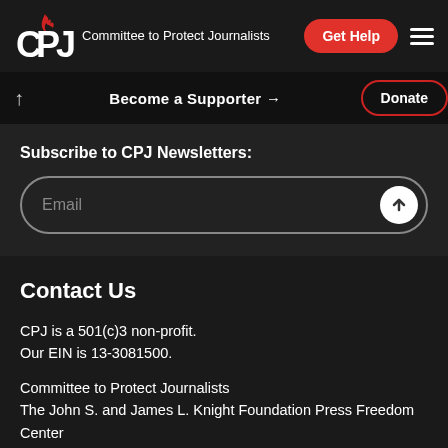CPJ - Committee to Protect Journalists | Get Help
Become a Supporter → | Donate
Subscribe to CPJ Newsletters:
Email
Contact Us
CPJ is a 501(c)3 non-profit.
Our EIN is 13-3081500.

Committee to Protect Journalists
The John S. and James L. Knight Foundation Press Freedom Center
P.O. Box 2675
New York, NY 10108